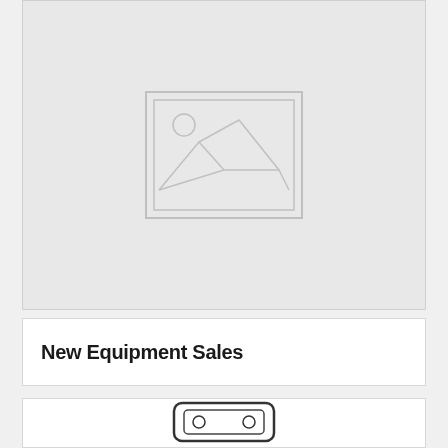[Figure (illustration): Large light gray placeholder image box with a centered image placeholder icon (mountain/landscape outline with sun circle), taking up most of the upper portion of the page.]
New Equipment Sales
[Figure (photo): Partial view of equipment product photo, partially cropped at bottom of page. Shows what appears to be a dark-colored piece of equipment or device.]